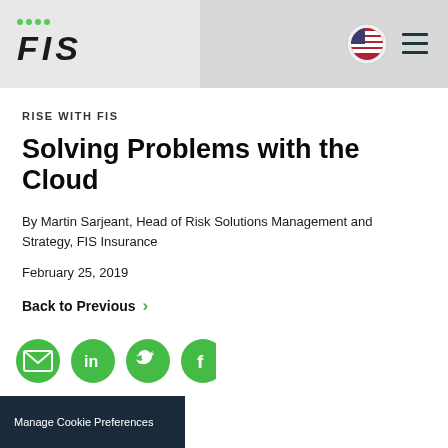FIS
RISE WITH FIS
Solving Problems with the Cloud
By Martin Sarjeant, Head of Risk Solutions Management and Strategy, FIS Insurance
February 25, 2019
Back to Previous
Manage Cookie Preferences